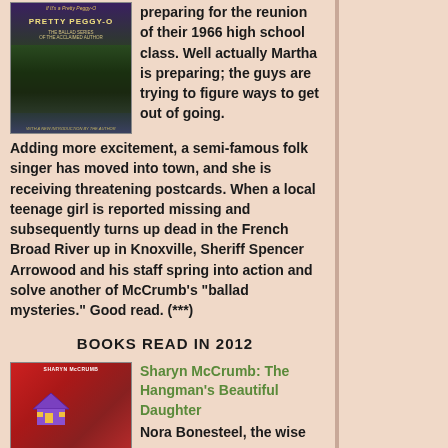[Figure (photo): Book cover of 'Pretty Peggy-O' with dark forest/night scene, purple and green tones]
preparing for the reunion of their 1966 high school class. Well actually Martha is preparing; the guys are trying to figure ways to get out of going. Adding more excitement, a semi-famous folk singer has moved into town, and she is receiving threatening postcards. When a local teenage girl is reported missing and subsequently turns up dead in the French Broad River up in Knoxville, Sheriff Spencer Arrowood and his staff spring into action and solve another of McCrumb's "ballad mysteries." Good read. (***)
BOOKS READ IN 2012
[Figure (photo): Book cover of 'The Hangman's Beautiful Daughter' by Sharyn McCrumb, red cover with purple house]
Sharyn McCrumb: The Hangman's Beautiful Daughter
Nora Bonesteel, the wise